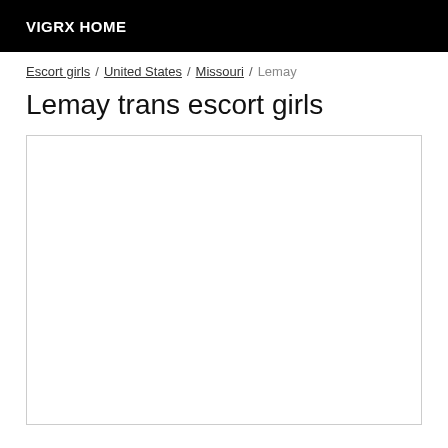VIGRX HOME
Escort girls / United States / Missouri / Lemay
Lemay trans escort girls
[Figure (other): Empty white content box with border]